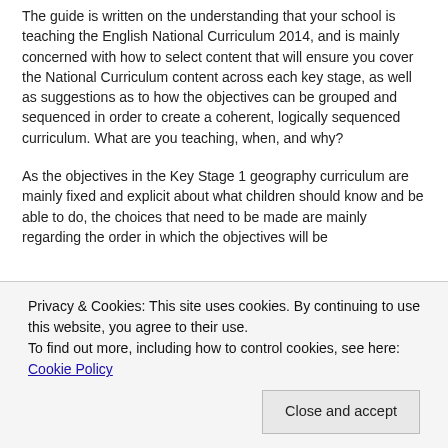The guide is written on the understanding that your school is teaching the English National Curriculum 2014, and is mainly concerned with how to select content that will ensure you cover the National Curriculum content across each key stage, as well as suggestions as to how the objectives can be grouped and sequenced in order to create a coherent, logically sequenced curriculum. What are you teaching, when, and why?
As the objectives in the Key Stage 1 geography curriculum are mainly fixed and explicit about what children should know and be able to do, the choices that need to be made are mainly regarding the order in which the objectives will be
Privacy & Cookies: This site uses cookies. By continuing to use this website, you agree to their use.
To find out more, including how to control cookies, see here: Cookie Policy
Close and accept
designed to help learners to remember in the long term the